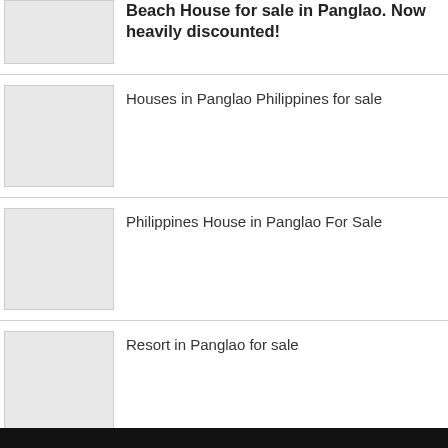Beach House for sale in Panglao. Now heavily discounted!
Houses in Panglao Philippines for sale
Philippines House in Panglao For Sale
Resort in Panglao for sale